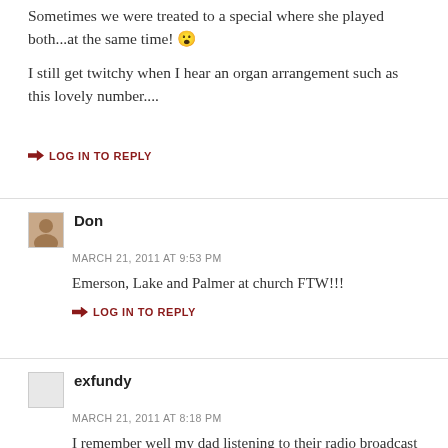Sometimes we were treated to a special where she played both...at the same time! 😮
I still get twitchy when I hear an organ arrangement such as this lovely number....
➜ LOG IN TO REPLY
Don
MARCH 21, 2011 AT 9:53 PM
Emerson, Lake and Palmer at church FTW!!!
➜ LOG IN TO REPLY
exfundy
MARCH 21, 2011 AT 8:18 PM
I remember well my dad listening to their radio broadcast